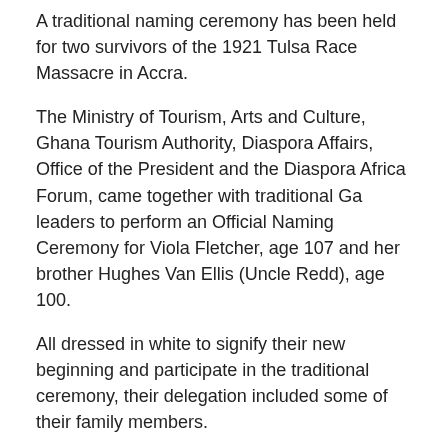A traditional naming ceremony has been held for two survivors of the 1921 Tulsa Race Massacre in Accra.
The Ministry of Tourism, Arts and Culture, Ghana Tourism Authority, Diaspora Affairs, Office of the President and the Diaspora Africa Forum, came together with traditional Ga leaders to perform an Official Naming Ceremony for Viola Fletcher, age 107 and her brother Hughes Van Ellis (Uncle Redd), age 100.
All dressed in white to signify their new beginning and participate in the traditional ceremony, their delegation included some of their family members.
The event took place at the Accra Tourist information Centre and was attended by the local community and members of the diaspora. People present included The Deputy Minister of Tourism Arts and Culture, Mark Okraku-